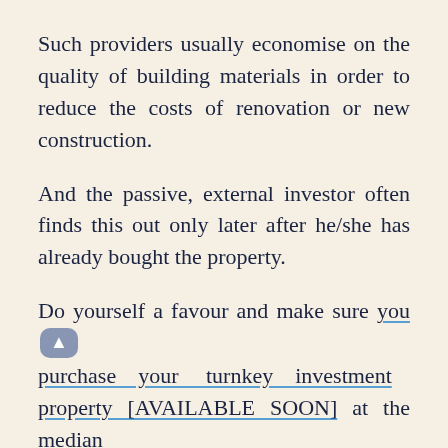Such providers usually economise on the quality of building materials in order to reduce the costs of renovation or new construction.
And the passive, external investor often finds this out only later after he/she has already bought the property.
Do yourself a favour and make sure you purchase your turnkey investment property [AVAILABLE SOON] at the median